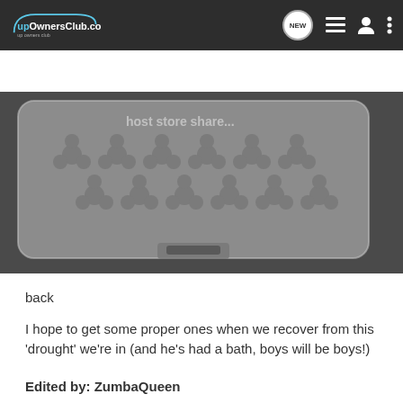upOwnersClub.co.uk
[Figure (screenshot): Navigation bar with upOwnersClub.co.uk logo, NEW speech bubble icon, list icon, user icon, and three-dot menu icon on dark background]
[Figure (screenshot): Search Community search bar on dark background]
[Figure (photo): Close-up black and white photo of a rubber car boot/trunk mat with trefoil/clover-shaped tread pattern, partially showing watermark text 'host store share']
back
I hope to get some proper ones when we recover from this 'drought' we're in (and he's had a bath, boys will be boys!)
Edited by: ZumbaQueen